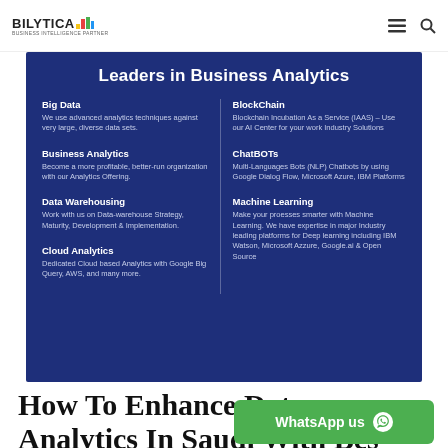BILYTICA — Leaders in Business Analytics
[Figure (infographic): Dark blue panel titled 'Leaders in Business Analytics' with two columns listing six services: Big Data, Business Analytics, Data Warehousing, Cloud Analytics (left); BlockChain, ChatBOTs, Machine Learning (right).]
How To Enhance Data Analytics In Saudi With Bes